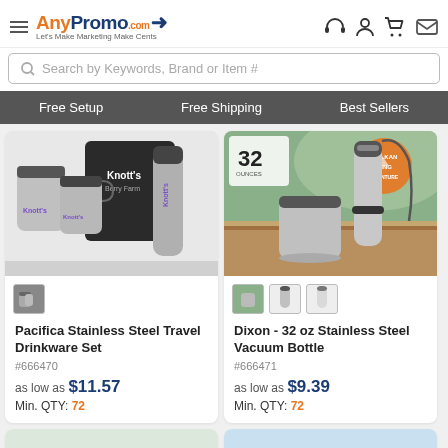AnyPromo.com — Let's Make Marketing Make Cents
Search by Keywords, Brand or Item #
Free Setup | Free Shipping | Best Sellers
[Figure (photo): Pacifica Stainless Steel Travel Drinkware Set product photo showing multiple stainless steel travel mugs with Knott's Berry Farm branding and a black bag]
Pacifica Stainless Steel Travel Drinkware Set
#666470
as low as $11.57
Min. QTY: 72
[Figure (photo): Dixon 32 oz Stainless Steel Vacuum Bottle product photo showing a stainless steel bottle with Balkan Hiking Adventures logo on an outdoor wooden surface]
Dixon - 32 oz Stainless Steel Vacuum Bottle
#666471
as low as $9.39
Min. QTY: 72